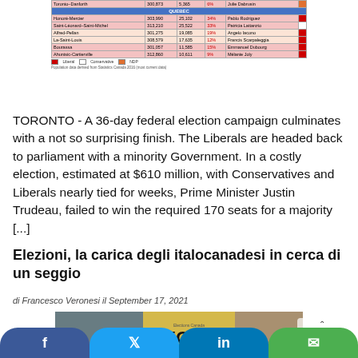[Figure (table-as-image): Partial election results table showing Quebec riding results with columns for riding name, population, vote percentage, and winner. Color-coded rows (pink/light orange) with a blue QUEBEC section header. Legend shows Liberal (red), Conservative (white), NDP (orange). Footnote: Population data derived from Statistics Canada 2016 (most current data).]
TORONTO - A 36-day federal election campaign culminates with a not so surprising finish. The Liberals are headed back to parliament with a minority Government. In a costly election, estimated at $610 million, with Conservatives and Liberals nearly tied for weeks, Prime Minister Justin Trudeau, failed to win the required 170 seats for a majority [...]
Elezioni, la carica degli italocanadesi in cerca di un seggio
di Francesco Veronesi il September 17, 2021
[Figure (photo): Photo showing a yellow Elections Canada VOTE sign, with a grey door on the left and a person partially visible on the right.]